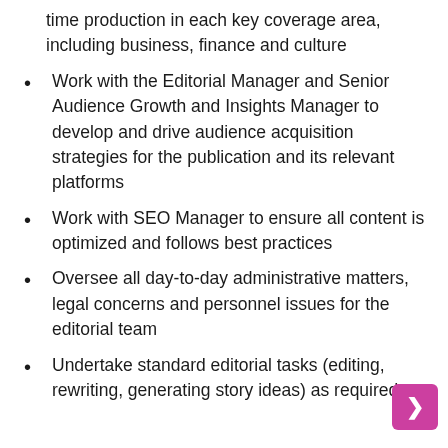time production in each key coverage area, including business, finance and culture
Work with the Editorial Manager and Senior Audience Growth and Insights Manager to develop and drive audience acquisition strategies for the publication and its relevant platforms
Work with SEO Manager to ensure all content is optimized and follows best practices
Oversee all day-to-day administrative matters, legal concerns and personnel issues for the editorial team
Undertake standard editorial tasks (editing, rewriting, generating story ideas) as required